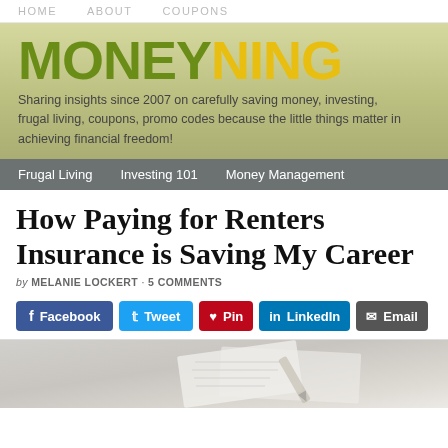HOME   ABOUT   COUPONS
[Figure (logo): MoneyNing logo — MONEY in olive/green, NING in yellow, bold large text on green-tan banner background]
Sharing insights since 2007 on carefully saving money, investing, frugal living, coupons, promo codes because the little things matter in achieving financial freedom!
Frugal Living   Investing 101   Money Management
How Paying for Renters Insurance is Saving My Career
by MELANIE LOCKERT · 5 COMMENTS
[Figure (infographic): Social sharing buttons: Facebook, Tweet, Pin, LinkedIn, Email]
[Figure (photo): Partial photograph visible at bottom of page, appears to show documents or papers]